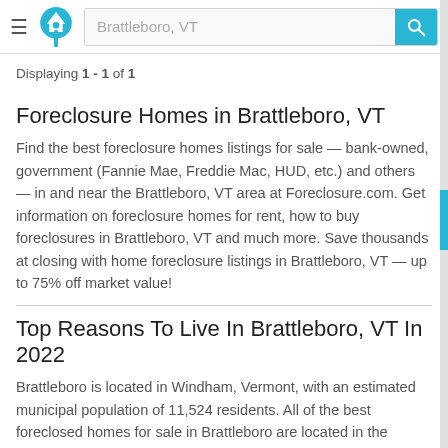Brattleboro, VT
Displaying 1 - 1 of 1
Foreclosure Homes in Brattleboro, VT
Find the best foreclosure homes listings for sale — bank-owned, government (Fannie Mae, Freddie Mac, HUD, etc.) and others — in and near the Brattleboro, VT area at Foreclosure.com. Get information on foreclosure homes for rent, how to buy foreclosures in Brattleboro, VT and much more. Save thousands at closing with home foreclosure listings in Brattleboro, VT — up to 75% off market value!
Top Reasons To Live In Brattleboro, VT In 2022
Brattleboro is located in Windham, Vermont, with an estimated municipal population of 11,524 residents. All of the best foreclosed homes for sale in Brattleboro are located in the following zip code areas on Foreclosure.com: 05301, 05302